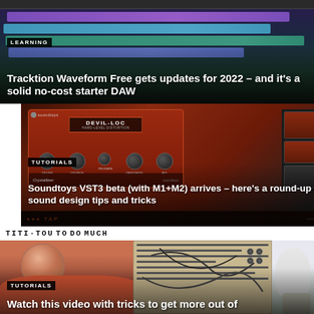[Figure (screenshot): DAW (Digital Audio Workstation) screenshot showing colored tracks in a music production interface]
LEARNING
Tracktion Waveform Free gets updates for 2022 – and it's a solid no-cost starter DAW
[Figure (screenshot): Soundtoys plugin interface showing Devil-Loc and Crystallizer audio plugins]
TUTORIALS
Soundtoys VST3 beta (with M1+M2) arrives – here's a round-up of sound design tips and tricks
[Figure (photo): Person in red shirt with modular synthesizer/electronics device on table with plant in background]
TUTORIALS
Watch this video with tricks to get more out of